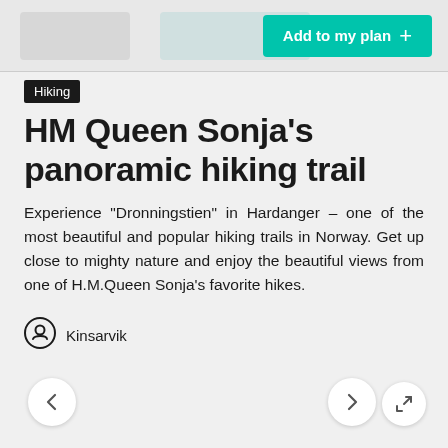Add to my plan +
Hiking
HM Queen Sonja's panoramic hiking trail
Experience "Dronningstien" in Hardanger – one of the most beautiful and popular hiking trails in Norway. Get up close to mighty nature and enjoy the beautiful views from one of H.M.Queen Sonja's favorite hikes.
Kinsarvik